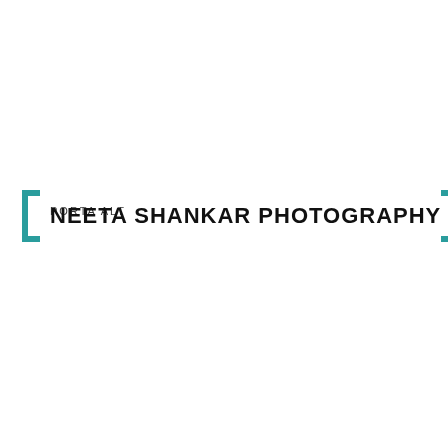[Figure (logo): NEETA SHANKAR PHOTOGRAPHY logo with teal/dark-cyan square bracket on left and right sides flanking the text. The text shows two overlapping lines: 'NEETA SHANKAR PHOTOGRAPHY' in bold black with 'porta alt' overlaid.]